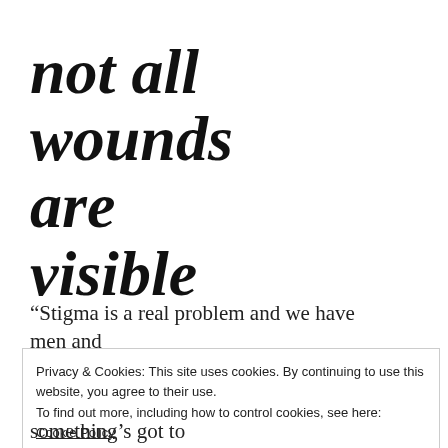not all wounds are visible
“Stigma is a real problem and we have men and
Privacy & Cookies: This site uses cookies. By continuing to use this website, you agree to their use.
To find out more, including how to control cookies, see here: Cookie Policy
Close and accept
something’s got to